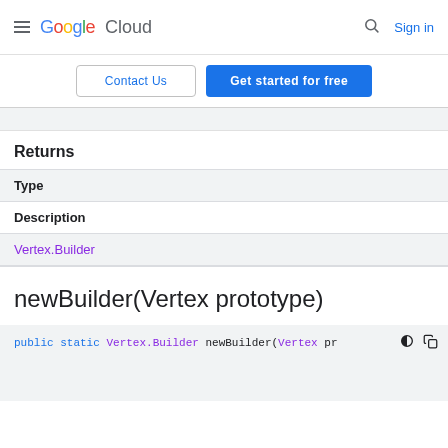Google Cloud  Sign in
Contact Us  Get started for free
Returns
| Type |
| --- |
| Description |
| Vertex.Builder |
newBuilder(Vertex prototype)
public static Vertex.Builder newBuilder(Vertex pr